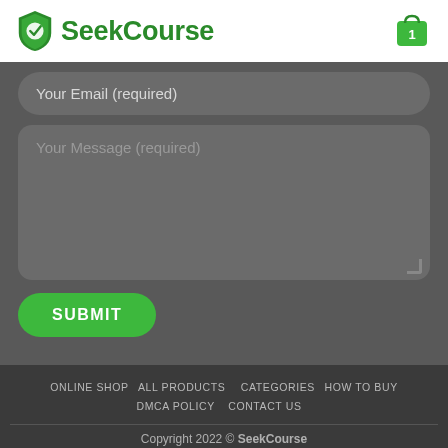SeekCourse
Your Email (required)
Your Message (required)
SUBMIT
ONLINE SHOP   ALL PRODUCTS   CATEGORIES   HOW TO BUY   DMCA POLICY   CONTACT US
Copyright 2022 © SeekCourse